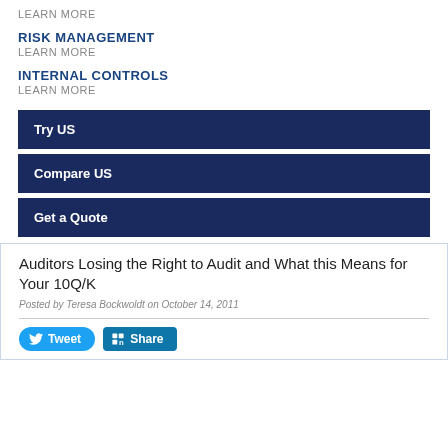LEARN MORE
RISK MANAGEMENT
LEARN MORE
INTERNAL CONTROLS
LEARN MORE
Try US
Compare US
Get a Quote
Auditors Losing the Right to Audit and What this Means for Your 10Q/K
Posted by Teresa Bockwoldt on October 14, 2011
Tweet  Share